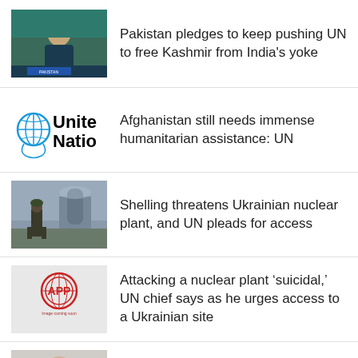[Figure (photo): Person speaking at a podium with Pakistan nameplate at UN]
Pakistan pledges to keep pushing UN to free Kashmir from India's yoke
[Figure (logo): United Nations logo with globe and text 'United Nations']
Afghanistan still needs immense humanitarian assistance: UN
[Figure (photo): Soldier standing near Ukrainian nuclear plant]
Shelling threatens Ukrainian nuclear plant, and UN pleads for access
[Figure (logo): APP (Associated Press of Pakistan) logo on grey background with text 'Image coming soon']
Attacking a nuclear plant ‘suicidal,’ UN chief says as he urges access to a Ukrainian site
[Figure (photo): Bald man with glasses]
Nuclear-free world is possible, test-b... treaty chief says